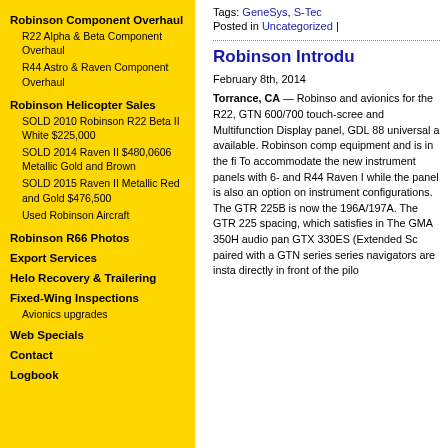Robinson Component Overhaul
R22 Alpha & Beta Component Overhaul
R44 Astro & Raven Component Overhaul
Robinson Helicopter Sales
SOLD 2010 Robinson R22 Beta II White $225,000
SOLD 2014 Raven II $480,0606 Metallic Gold and Brown
SOLD 2015 Raven II Metallic Red and Gold $476,500
Used Robinson Aircraft
Robinson R66 Photos
Export Services
Helo Recovery & Trailering
Fixed-Wing Inspections
Avionics upgrades
Web Specials
Contact
Logbook
Tags: GeneSys, S-Tec
Posted in Uncategorized |
Robinson Introdu
February 8th, 2014
Torrance, CA — Robinso and avionics for the R22, GTN 600/700 touch-scree and Multifunction Display panel, GDL 88 universal a available. Robinson comp equipment and is in the fi To accommodate the new instrument panels with 6- and R44 Raven I while the panel is also an option on instrument configurations. The GTR 225B is now the 196A/197A. The GTR 225 spacing, which satisfies in The GMA 350H audio pan GTX 330ES (Extended Sc paired with a GTN series series navigators are insta directly in front of the pilo